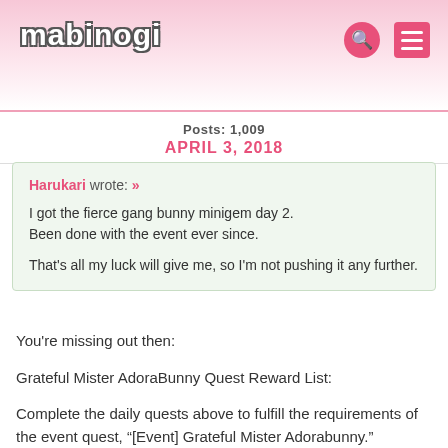mabinogi
Posts: 1,009
APRIL 3, 2018
Harukari wrote: »

I got the fierce gang bunny minigem day 2.
Been done with the event ever since.

That's all my luck will give me, so I'm not pushing it any further.
You're missing out then:
Grateful Mister AdoraBunny Quest Reward List:
Complete the daily quests above to fulfill the requirements of the event quest, “[Event] Grateful Mister Adorabunny.”